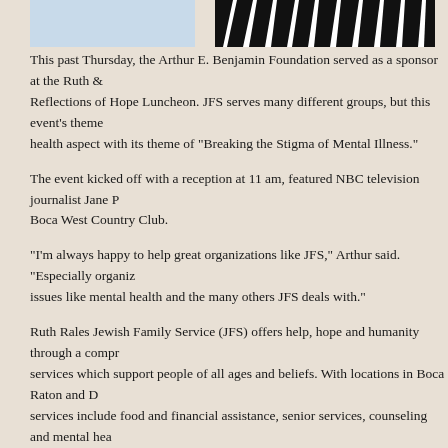[Figure (photo): Top portion: left side shows a partial photo with light blue background (hands/person cropped), right side shows a black and white zebra stripe pattern image, both cropped at top of page.]
This past Thursday, the Arthur E. Benjamin Foundation served as a sponsor at the Ruth & Reflections of Hope Luncheon. JFS serves many different groups, but this event's theme health aspect with its theme of "Breaking the Stigma of Mental Illness."
The event kicked off with a reception at 11 am, featured NBC television journalist Jane P Boca West Country Club.
“I’m always happy to help great organizations like JFS,” Arthur said. “Especially organiz issues like mental health and the many others JFS deals with.”
Ruth Rales Jewish Family Service (JFS) offers help, hope and humanity through a compr services which support people of all ages and beliefs. With locations in Boca Raton and D services include food and financial assistance, senior services, counseling and mental hea opportunities. Funding is provided by private and corporate support, grants, special event in need each year. For more information, contact (561) 852-3333 or visit www.ruthralesjf
For more information on this event, please click here.
[Figure (other): Social sharing buttons: Facebook Like button showing count 0, and Twitter Tweet button showing count 0.]
Leave a Reply
Your email address will not be published. Required fields are marked *